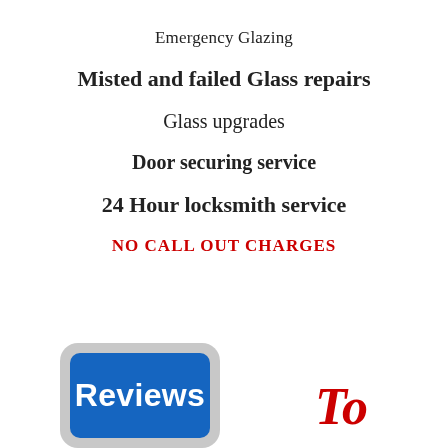Emergency Glazing
Misted and failed Glass repairs
Glass upgrades
Door securing service
24 Hour locksmith service
NO CALL OUT CHARGES
[Figure (logo): Reviews badge — rounded rectangle with grey border containing a blue rounded rectangle with white bold text 'Reviews']
To